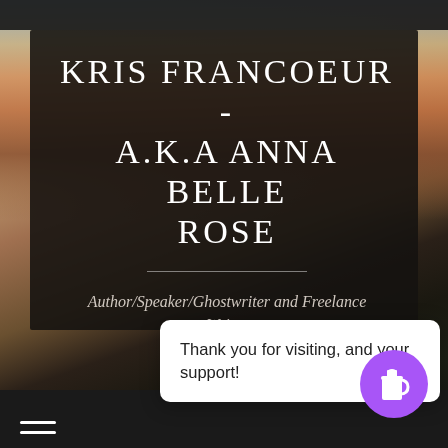[Figure (screenshot): Website header screenshot for Kris Francoeur a.k.a Anna Belle Rose. Shows a dark semi-transparent overlay box on a sunset/waterscape background photo, containing the site title and subtitle. Below is a navigation bar with a hamburger menu, a white popup card, and a purple coffee button.]
KRIS FRANCOEUR - A.K.A ANNA BELLE ROSE
Author/Speaker/Ghostwriter and Freelance Writer
Thank you for visiting, and your support!